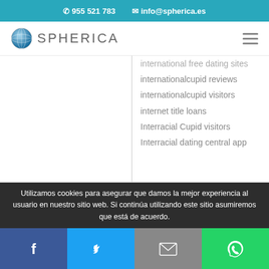📞 955 521 783   ✉ info@spherica.es
[Figure (logo): Spherica logo with globe icon and text SPHERICA]
international free dating sites
internationalcupid reviews
internationalcupid visitors
internet title loans
Interracial Cupid visitors
Interracial dating central app
Utilizamos cookies para asegurar que damos la mejor experiencia al usuario en nuestro sitio web. Si continúa utilizando este sitio asumiremos que está de acuerdo.